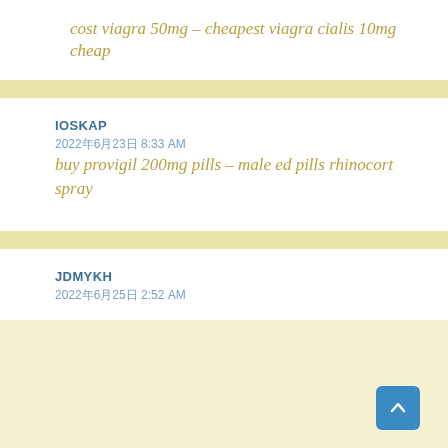cost viagra 50mg – cheapest viagra cialis 10mg cheap
IOSKAP
2022年6月23日 8:33 AM
buy provigil 200mg pills – male ed pills rhinocort spray
JDMYKH
2022年6月25日 2:52 AM